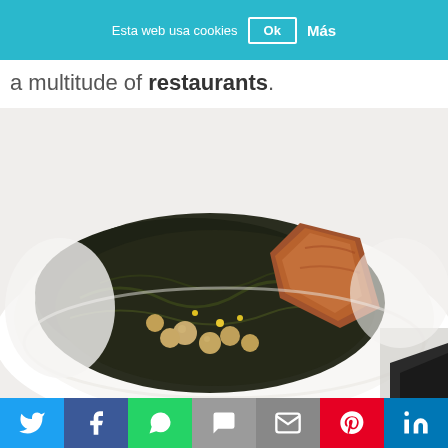Esta web usa cookies  Ok  Más
a multitude of restaurants.
[Figure (photo): A white bowl containing a dark green spinach and chickpea dish (espinacas con garbanzos) with a piece of bread on top, served on a white plate. A dark napkin is visible in the bottom right corner.]
Twitter | Facebook | WhatsApp | SMS | Email | Pinterest | LinkedIn